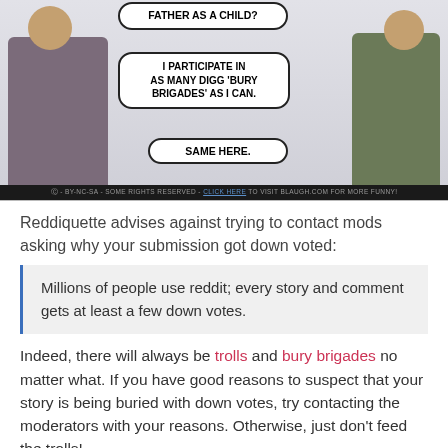[Figure (illustration): A comic strip showing two characters. The left character has a speech bubble saying 'FATHER AS A CHILD?' and another saying 'I PARTICIPATE IN AS MANY DIGG 'BURY BRIGADES' AS I CAN.' The right character responds with 'SAME HERE.' A footer bar reads '(cc) - BY-NC-SA - SOME RIGHTS RESERVED - CLICK HERE TO VISIT BLAUGH.COM FOR MORE FUNNY!']
Reddiquette advises against trying to contact mods asking why your submission got down voted:
Millions of people use reddit; every story and comment gets at least a few down votes.
Indeed, there will always be trolls and bury brigades no matter what. If you have good reasons to suspect that your story is being buried with down votes, try contacting the moderators with your reasons. Otherwise, just don't feed the trolls!